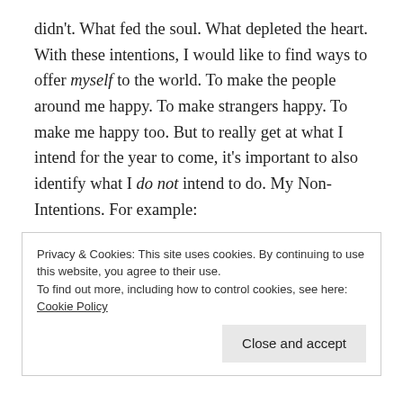didn't. What fed the soul. What depleted the heart. With these intentions, I would like to find ways to offer myself to the world. To make the people around me happy. To make strangers happy. To make me happy too. But to really get at what I intend for the year to come, it's important to also identify what I do not intend to do. My Non-Intentions. For example:
I do not intend to run a marathon. Yes, I just turned forty, and yes, it does seem like it's the sort of thing that people do when they reach a milestone birthday, in a "Hey, look at me, I am still
Privacy & Cookies: This site uses cookies. By continuing to use this website, you agree to their use.
To find out more, including how to control cookies, see here: Cookie Policy
Close and accept